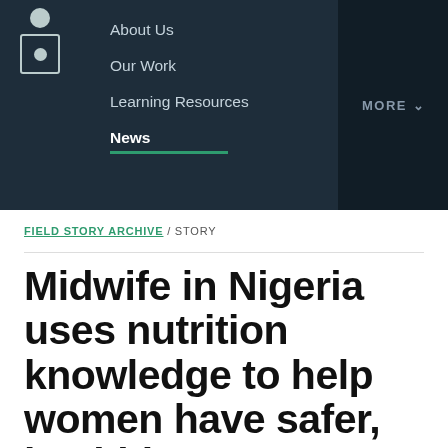About Us | Our Work | Learning Resources | News | MORE
FIELD STORY ARCHIVE / STORY
Midwife in Nigeria uses nutrition knowledge to help women have safer, healthier pregnancies